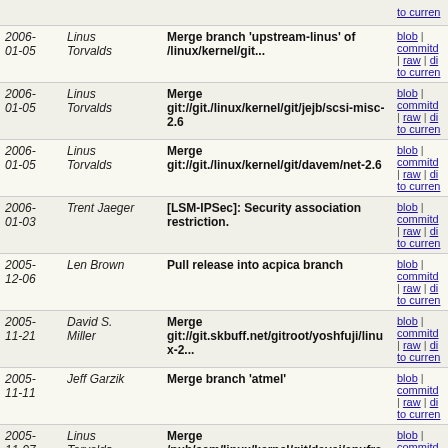| Date | Author | Commit Message | Links |
| --- | --- | --- | --- |
| 2006-01-05 | Linus Torvalds | Merge branch 'upstream-linus' of /linux/kernel/git... | blob | commitd | raw | di to curren |
| 2006-01-05 | Linus Torvalds | Merge git://git./linux/kernel/git/jejb/scsi-misc-2.6 | blob | commitd | raw | di to curren |
| 2006-01-05 | Linus Torvalds | Merge git://git./linux/kernel/git/davem/net-2.6 | blob | commitd | raw | di to curren |
| 2006-01-03 | Trent Jaeger | [LSM-IPSec]: Security association restriction. | blob | commitd | raw | di to curren |
| 2005-12-06 | Len Brown | Pull release into acpica branch | blob | commitd | raw | di to curren |
| 2005-11-21 | David S. Miller | Merge git://git.skbuff.net/gitroot/yoshfuji/linux-2... | blob | commitd | raw | di to curren |
| 2005-11-11 | Jeff Garzik | Merge branch 'atmel' | blob | commitd | raw | di to curren |
| 2005-11-07 | Linus Torvalds | Merge /pub/scm/linux/kernel/git/davej/cpufreq | blob | commitd | raw | di to curren |
| 2005-11-07 | Linus Torvalds | Merge /pub/scm/linux/kernel/git/davej/agpgart | blob | commitd | raw | di to curren |
| 2005-11-06 | Thomas Gleixner | Merge branch 'master' of /home/tglx/work/mtd/git/linux... | blob | commitd | raw | di to curren |